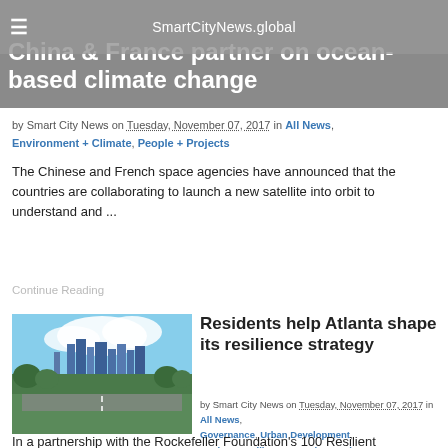SmartCityNews.global
China & France partner on ocean-based climate change
by Smart City News on Tuesday, November 07, 2017 in All News, Environment + Climate, People + Projects
The Chinese and French space agencies have announced that the countries are collaborating to launch a new satellite into orbit to understand and ...
Continue Reading
[Figure (photo): Aerial/skyline view of Atlanta city with highway and green trees]
Residents help Atlanta shape its resilience strategy
by Smart City News on Tuesday, November 07, 2017 in All News, Governance, Urban Development, Society, Resilience, People + Projects
In a partnership with the Rockefeller Foundation's 100 Resilient